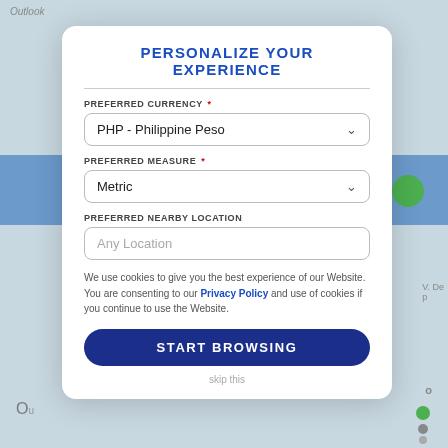PERSONALIZE YOUR EXPERIENCE
PREFERRED CURRENCY *
PHP - Philippine Peso
PREFERRED MEASURE *
Metric
PREFERRED NEARBY LOCATION
Any Location
We use cookies to give you the best experience of our Website. You are consenting to our Privacy Policy and use of cookies if you continue to use the Website.
START BROWSING
skip this